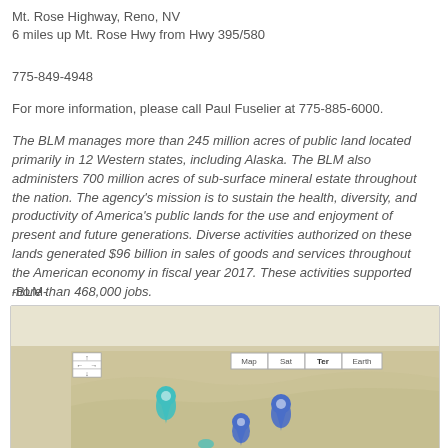Mt. Rose Highway, Reno, NV
6 miles up Mt. Rose Hwy from Hwy 395/580
775-849-4948
For more information, please call Paul Fuselier at 775-885-6000.
The BLM manages more than 245 million acres of public land located primarily in 12 Western states, including Alaska. The BLM also administers 700 million acres of sub-surface mineral estate throughout the nation. The agency's mission is to sustain the health, diversity, and productivity of America's public lands for the use and enjoyment of present and future generations. Diverse activities authorized on these lands generated $96 billion in sales of goods and services throughout the American economy in fiscal year 2017. These activities supported more than 468,000 jobs.
-BLM-
[Figure (map): Project Locations map showing terrain view with blue and teal map markers. Map controls show Map, Sat, Ter (selected), Earth view options and navigation arrows.]